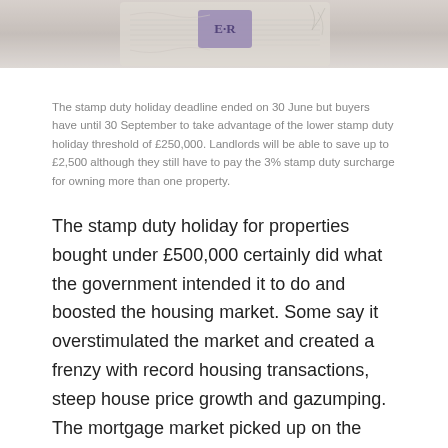[Figure (photo): Close-up photograph of a UK banknote showing intricate engraved patterns and the E·R royal cypher on a purple stamp, with pale green and beige tones]
The stamp duty holiday deadline ended on 30 June but buyers have until 30 September to take advantage of the lower stamp duty holiday threshold of £250,000. Landlords will be able to save up to £2,500 although they still have to pay the 3% stamp duty surcharge for owning more than one property.
The stamp duty holiday for properties bought under £500,000 certainly did what the government intended it to do and boosted the housing market. Some say it overstimulated the market and created a frenzy with record housing transactions, steep house price growth and gazumping. The mortgage market picked up on the back of this and both residential and buy-to-let lending have been relatively strong.